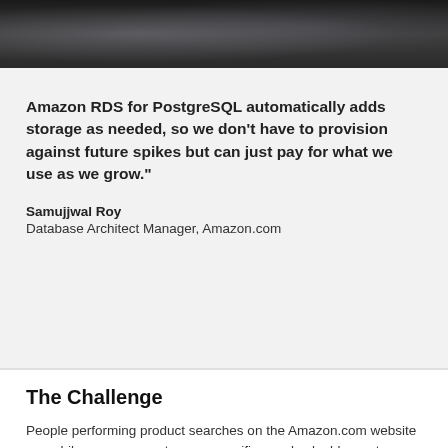[Figure (photo): Dark photograph showing a person, partially visible, appears to be a cropped portrait or action shot with dark/moody lighting]
Amazon RDS for PostgreSQL automatically adds storage as needed, so we don't have to provision against future spikes but can just pay for what we use as we grow."
Samujjwal Roy
Database Architect Manager, Amazon.com
The Challenge
People performing product searches on the Amazon.com website or mobile app represent a very specific—and valuable—category of potential customer. Because they are searching on a retail site, they